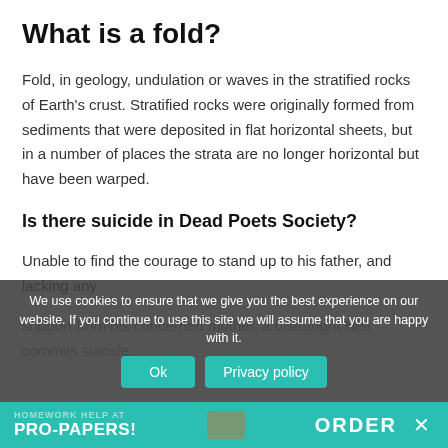What is a fold?
Fold, in geology, undulation or waves in the stratified rocks of Earth's crust. Stratified rocks were originally formed from sediments that were deposited in flat horizontal sheets, but in a number of places the strata are no longer horizontal but have been warped.
Is there suicide in Dead Poets Society?
Unable to find the courage to stand up to his father, and lacking any support from his concerned mother, a distraught Neil commits suicide.
We use cookies to ensure that we give you the best experience on our website. If you continue to use this site we will assume that you are happy with it.